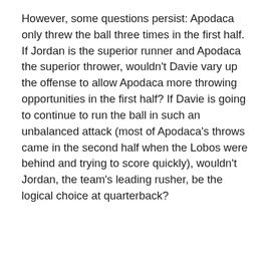However, some questions persist: Apodaca only threw the ball three times in the first half. If Jordan is the superior runner and Apodaca the superior thrower, wouldn't Davie vary up the offense to allow Apodaca more throwing opportunities in the first half? If Davie is going to continue to run the ball in such an unbalanced attack (most of Apodaca's throws came in the second half when the Lobos were behind and trying to score quickly), wouldn't Jordan, the team's leading rusher, be the logical choice at quarterback?